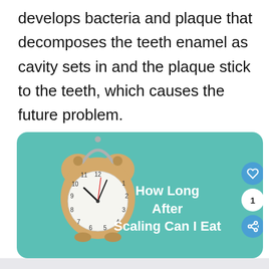develops bacteria and plaque that decomposes the teeth enamel as cavity sets in and the plaque stick to the teeth, which causes the future problem.
[Figure (illustration): A teal/turquoise rounded card containing a beige alarm clock on the left side with clock hands showing approximately 10:10, and white bold text on the right reading 'How Long After Scaling Can I Eat'. Social media-style buttons (heart icon, number 1, share icon) appear on the right edge.]